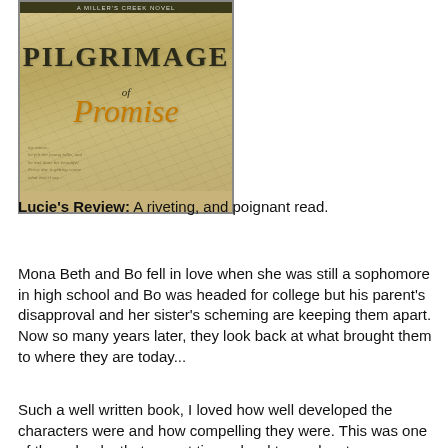[Figure (illustration): Book cover for 'Pilgrimage of Promise', a Miller's Creek Novel. Cover features a vintage handwritten letter background in sepia/gold tones, with the title 'PILGRIMAGE' in bold serif text and 'of Promise' in orange italic script beneath it.]
Lucie's Review: A riveting, and poignant read.
Mona Beth and Bo fell in love when she was still a sophomore in high school and Bo was headed for college but his parent's disapproval and her sister's scheming are keeping them apart.
Now so many years later, they look back at what brought them to where they are today...
Such a well written book, I loved how well developed the characters were and how compelling they were. This was one of those books that was at times, hard to read, yet